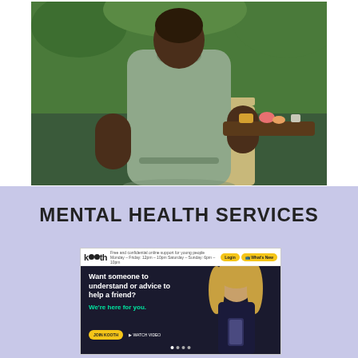[Figure (photo): Back view of a person in a grey/sage uniform dress holding a wooden tray with wellness items (tea, flowers) in an outdoor garden setting with green plants and a path.]
MENTAL HEALTH SERVICES
[Figure (screenshot): Screenshot of the Kooth website homepage. Shows the Kooth logo in the navigation bar with yellow buttons, and a hero section with a young woman looking at her phone. Text reads 'Want someone to understand or advice to help a friend? We're here for you.' with a yellow 'Join Kooth' button and a 'Watch Video' link.]